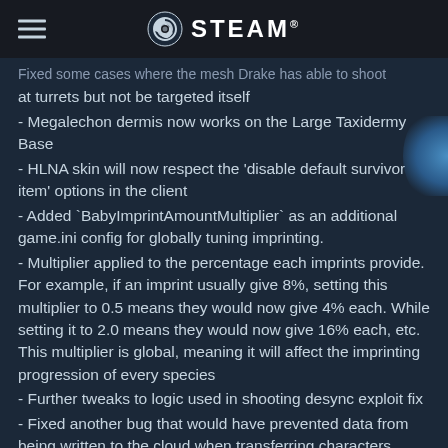STEAM
Fixed some cases where the mesh Drake has able to shoot at turrets but not be targeted itself
- Megalechon dermis now works on the Large Taxidermy Base
- HLNA skin will now respect the 'disable default survivor item' options in the client
- Added `BabyImprintAmountMultiplier` as an additional game.ini config for globally tuning imprinting.
- Multiplier applied to the percentage each imprints provide. For example, if an imprint usually give 8%, setting this multiplier to 0.5 means they would now give 4% each. While setting it to 2.0 means they would now give 16% each, etc. This multiplier is global, meaning it will affect the imprinting progression of every species
- Further tweaks to logic used in shooting desync exploit fix
- Fixed another bug that would have prevented data from being written to the cloud when transferring characters (Official Only).
- Prevented unclaimed dinos from breeding
- Prevented baby dinos from auto-harvesting